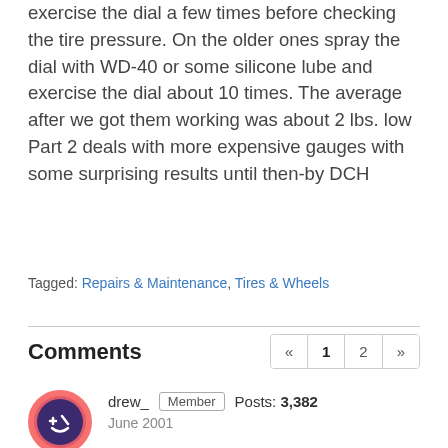exercise the dial a few times before checking the tire pressure. On the older ones spray the dial with WD-40 or some silicone lube and exercise the dial about 10 times. The average after we got them working was about 2 lbs. low Part 2 deals with more expensive gauges with some surprising results until then-by DCH
Tagged: Repairs & Maintenance, Tires & Wheels
Comments
drew_  Member  Posts: 3,382  June 2001
Thanks DCH! Great new topic to start. I have renamed it to "Tire gauges" so that we can discuss anything about tire gauges in this discussion topic, including your posts As mentioned, I look forward to reading the rest of your research!